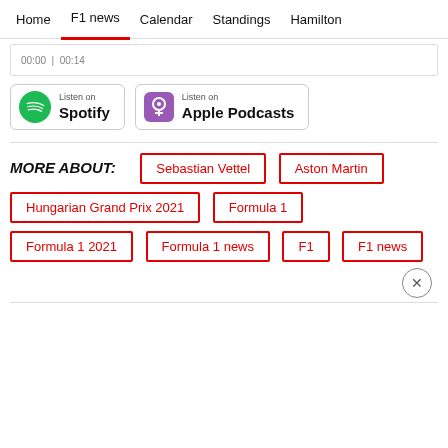Home | F1 news | Calendar | Standings | Hamilton
00:00 | 00:14
[Figure (logo): Listen on Spotify badge]
[Figure (logo): Listen on Apple Podcasts badge]
MORE ABOUT:
Sebastian Vettel
Aston Martin
Hungarian Grand Prix 2021
Formula 1
Formula 1 2021
Formula 1 news
F1
F1 news